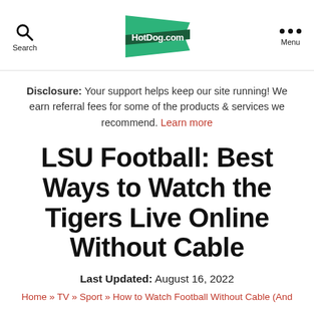Search  HotDog.com  Menu
Disclosure: Your support helps keep our site running! We earn referral fees for some of the products & services we recommend. Learn more
LSU Football: Best Ways to Watch the Tigers Live Online Without Cable
Last Updated: August 16, 2022
Home » TV » Sport » How to Watch Football Without Cable (And